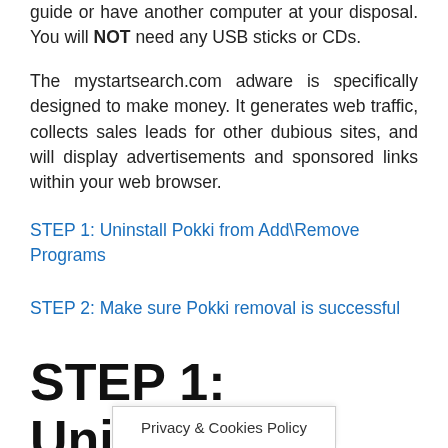guide or have another computer at your disposal. You will NOT need any USB sticks or CDs.
The mystartsearch.com adware is specifically designed to make money. It generates web traffic, collects sales leads for other dubious sites, and will display advertisements and sponsored links within your web browser.
STEP 1: Uninstall Pokki from Add\Remove Programs
STEP 2: Make sure Pokki removal is successful
STEP 1: Uninstall
Privacy & Cookies Policy